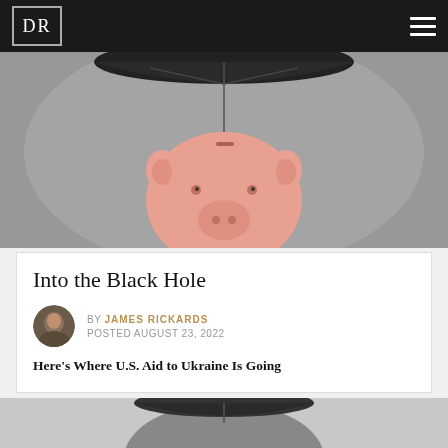DR
[Figure (photo): Piggy bank hanging upside down from a black umbrella against a gray background]
Into the Black Hole
BY JAMES RICKARDS
POSTED AUGUST 23, 2022
Here's Where U.S. Aid to Ukraine Is Going
[Figure (photo): Person in dark suit with umbrella, grayscale image, partially cropped at bottom of page]